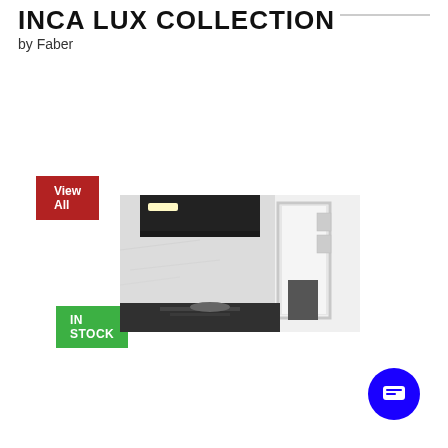INCA LUX COLLECTION
by Faber
View All
IN STOCK
[Figure (photo): Kitchen scene with a sleek black insert range hood mounted above a stove, featuring white marble walls and modern cabinetry with framed artwork visible through a doorway.]
28" insert hood with Variable Air Management